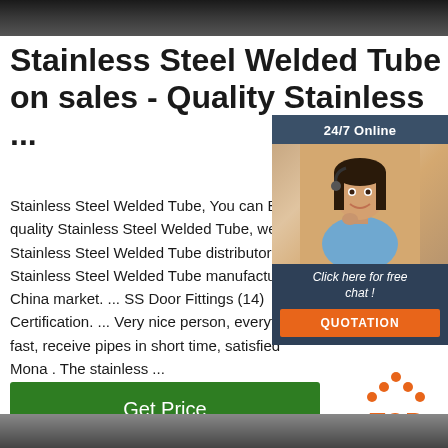[Figure (photo): Dark metallic surface, top banner image]
Stainless Steel Welded Tube on sales - Quality Stainless ...
[Figure (infographic): 24/7 Online chat widget with woman in headset, 'Click here for free chat!' and QUOTATION button]
Stainless Steel Welded Tube, You can Buy quality Stainless Steel Welded Tube, we are Stainless Steel Welded Tube distributor & Stainless Steel Welded Tube manufacturer from China market. ... SS Door Fittings (14) Certification. ... Very nice person, everything fast, receive pipes in short time, satisfied. Mona . The stainless ...
[Figure (logo): TOP logo with orange dots forming a triangle above the word TOP]
[Figure (photo): Stainless steel pipes/tubes, bottom banner image]